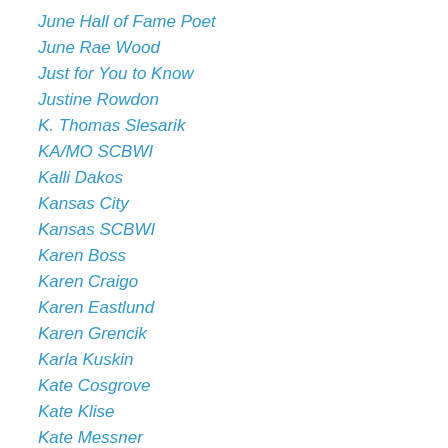June Hall of Fame Poet
June Rae Wood
Just for You to Know
Justine Rowdon
K. Thomas Slesarik
KA/MO SCBWI
Kalli Dakos
Kansas City
Kansas SCBWI
Karen Boss
Karen Craigo
Karen Eastlund
Karen Grencik
Karla Kuskin
Kate Cosgrove
Kate Klise
Kate Messner
Kathleen Kennon
Kathleen O'Dell
Kathy Johnson Zwahl